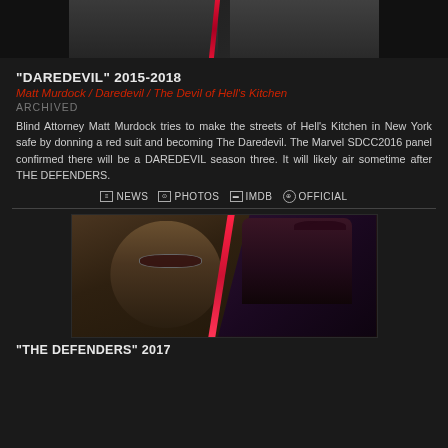[Figure (photo): Top portion of a split image showing two people, cropped at top of page]
"DAREDEVIL" 2015-2018
Matt Murdock / Daredevil / The Devil of Hell's Kitchen
ARCHIVED
Blind Attorney Matt Murdock tries to make the streets of Hell's Kitchen in New York safe by donning a red suit and becoming The Daredevil. The Marvel SDCC2016 panel confirmed there will be a DAREDEVIL season three. It will likely air sometime after THE DEFENDERS.
NEWS  PHOTOS  IMDB  OFFICIAL
[Figure (photo): Split image showing Matt Murdock (Charlie Cox) in suit and sunglasses on left, and Daredevil in costume on right, divided by diagonal red line]
"THE DEFENDERS" 2017